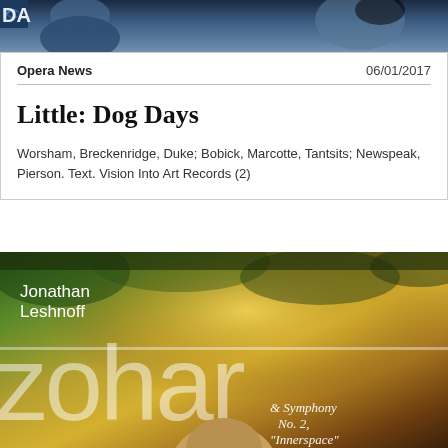[Figure (photo): Top strip showing partial photo of person(s), cropped]
Opera News	06/01/2017
Little: Dog Days
Worsham, Breckenridge, Duke; Bobick, Marcotte, Tantsits; Newspeak, Pierson. Text. Vision Into Art Records (2)
[Figure (photo): Album cover for Jonathan Leshnoff 'Zohar & Symphony No. 2, Innerspace' — warm golden-green forest background with large semi-transparent white text 'zohar' and composer name 'Jonathan Leshnoff' and subtitle '& Symphony No. 2, Innerspace']